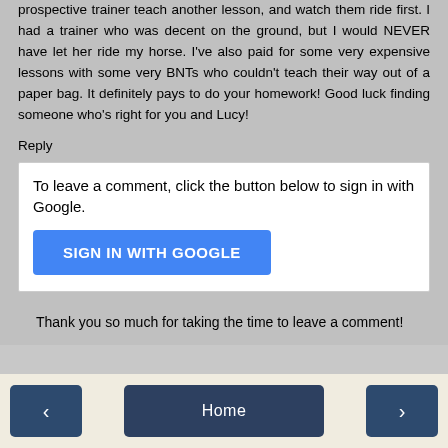prospective trainer teach another lesson, and watch them ride first. I had a trainer who was decent on the ground, but I would NEVER have let her ride my horse. I've also paid for some very expensive lessons with some very BNTs who couldn't teach their way out of a paper bag. It definitely pays to do your homework! Good luck finding someone who’s right for you and Lucy!
Reply
To leave a comment, click the button below to sign in with Google.
[Figure (other): SIGN IN WITH GOOGLE button (blue)]
Thank you so much for taking the time to leave a comment!
[Figure (other): Navigation bar with left arrow, Home button, and right arrow]